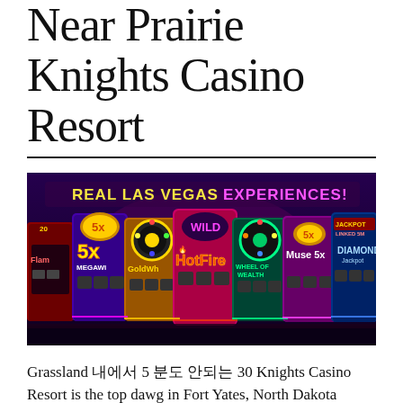Near Prairie Knights Casino Resort
[Figure (photo): Colorful slot machines advertisement with text 'REAL LAS VEGAS EXPERIENCES!' showing multiple casino slot machines including '5x Megaways', 'GoldWho', 'HotFire Wild', 'Wheel of Wealth', 'Muse 5x', and 'Diamond' slots against a dark background with neon lighting.]
Grassland 내에서 5 분도 안되는 30 Knights Casino Resort is the top dawg in Fort Yates, North Dakota